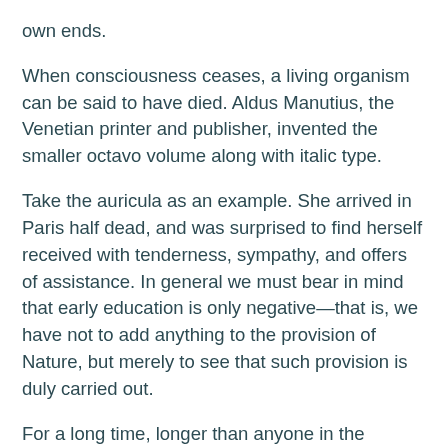own ends.
When consciousness ceases, a living organism can be said to have died. Aldus Manutius, the Venetian printer and publisher, invented the smaller octavo volume along with italic type.
Take the auricula as an example. She arrived in Paris half dead, and was surprised to find herself received with tenderness, sympathy, and offers of assistance. In general we must bear in mind that early education is only negative—that is, we have not to add anything to the provision of Nature, but merely to see that such provision is duly carried out.
For a long time, longer than anyone in the newspaper business has been alive in fact, print journalism has been intertwined with these economics. How to write law